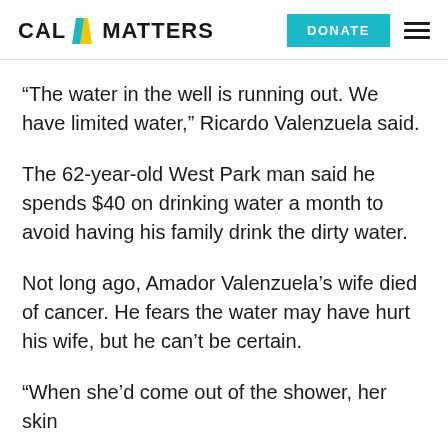CAL MATTERS | DONATE
“The water in the well is running out. We have limited water,” Ricardo Valenzuela said.
The 62-year-old West Park man said he spends $40 on drinking water a month to avoid having his family drink the dirty water.
Not long ago, Amador Valenzuela’s wife died of cancer. He fears the water may have hurt his wife, but he can’t be certain.
“When she’d come out of the shower, her skin